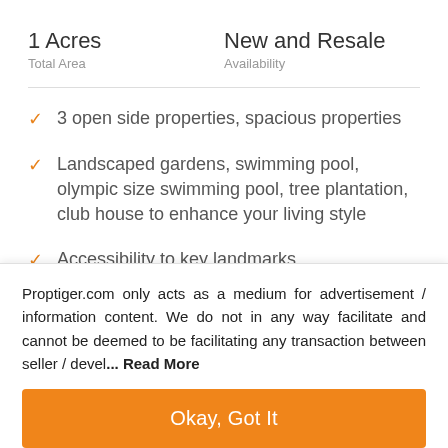1 Acres
Total Area
New and Resale
Availability
3 open side properties, spacious properties
Landscaped gardens, swimming pool, olympic size swimming pool, tree plantation, club house to enhance your living style
Accessibility to key landmarks
Civic amenities like schools, hospitals, educational
Proptiger.com only acts as a medium for advertisement / information content. We do not in any way facilitate and cannot be deemed to be facilitating any transaction between seller / devel... Read More
Okay, Got It